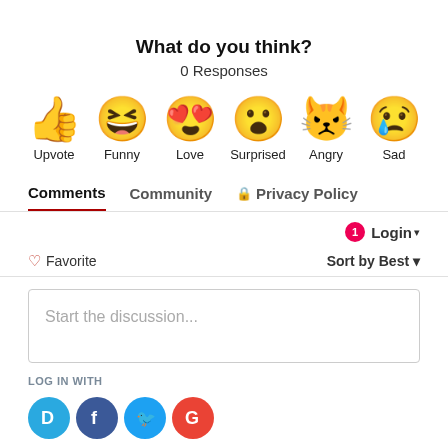What do you think?
0 Responses
[Figure (infographic): Six emoji reaction icons in a row: thumbs up (Upvote), laughing face with tongue (Funny), heart eyes (Love), surprised face (Surprised), crying/angry face (Angry), sad face with tear (Sad)]
Comments  Community  🔒 Privacy Policy
🔔1  Login ▾
♡ Favorite    Sort by Best ▾
Start the discussion...
LOG IN WITH
[Figure (logo): Four social login circles: Disqus (blue D), Facebook (dark blue f), Twitter (light blue bird), Google (red G)]